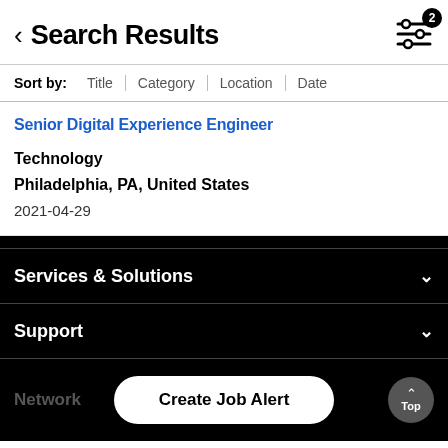Search Results
Sort by: Title | Category | Location | Date
Senior Digital Experience Engineer
Technology
Philadelphia, PA, United States
2021-04-29
Services & Solutions
Support
Network
Create Job Alert